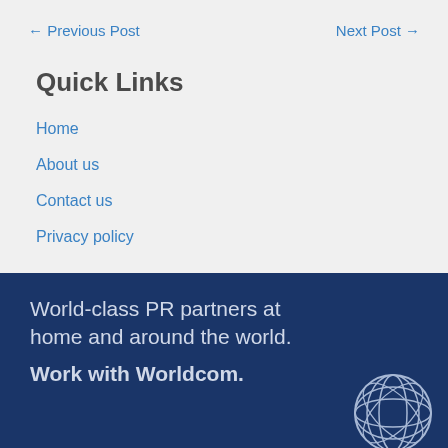← Previous Post    Next Post →
Quick Links
Home
About us
Contact us
Privacy policy
[Figure (illustration): Dark blue banner with white text reading 'World-class PR partners at home and around the world. Work with Worldcom.' and a globe/sphere logo in the bottom right corner.]